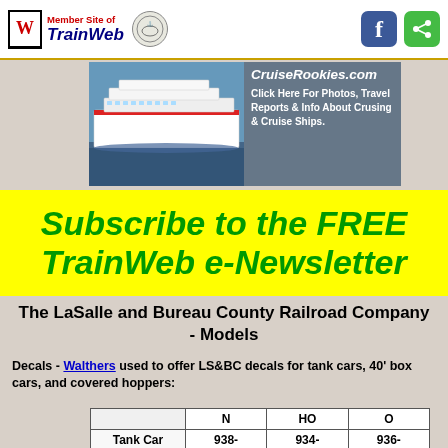Member Site of TrainWeb
[Figure (infographic): CruiseRookies.com advertisement banner with cruise ship photo and text: Click Here For Photos, Travel Reports & Info About Crusing & Cruise Ships.]
Subscribe to the FREE TrainWeb e-Newsletter
The LaSalle and Bureau County Railroad Company - Models
Decals - Walthers used to offer LS&BC decals for tank cars, 40' box cars, and covered hoppers:
|  | N | HO | O |
| --- | --- | --- | --- |
| Tank Car | 938-... | 934-... | 936-... |